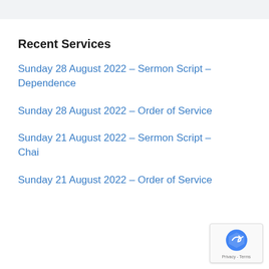Recent Services
Sunday 28 August 2022 – Sermon Script – Dependence
Sunday 28 August 2022 – Order of Service
Sunday 21 August 2022 – Sermon Script – Chai
Sunday 21 August 2022 – Order of Service